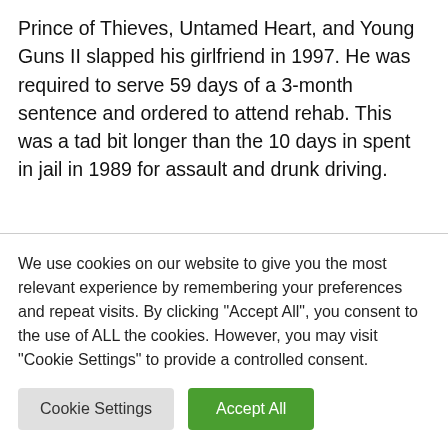Prince of Thieves, Untamed Heart, and Young Guns II slapped his girlfriend in 1997. He was required to serve 59 days of a 3-month sentence and ordered to attend rehab. This was a tad bit longer than the 10 days in spent in jail in 1989 for assault and drunk driving.
4. Danny Treio
We use cookies on our website to give you the most relevant experience by remembering your preferences and repeat visits. By clicking "Accept All", you consent to the use of ALL the cookies. However, you may visit "Cookie Settings" to provide a controlled consent.